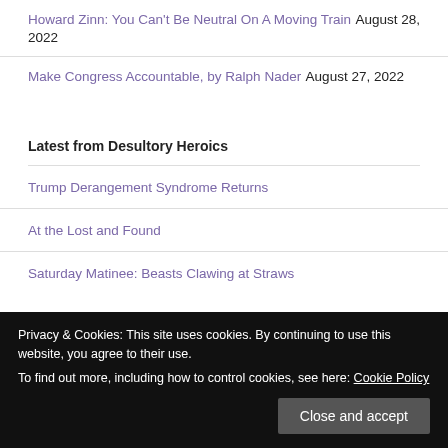Howard Zinn: You Can't Be Neutral On A Moving Train August 28, 2022
Make Congress Accountable, by Ralph Nader August 27, 2022
Latest from Desultory Heroics
Trump Derangement Syndrome Returns
At the Lost and Found
Saturday Matinee: Beasts Clawing at Straws
Privacy & Cookies: This site uses cookies. By continuing to use this website, you agree to their use.
To find out more, including how to control cookies, see here: Cookie Policy
More Billions to Ukraine as America Falls Apart